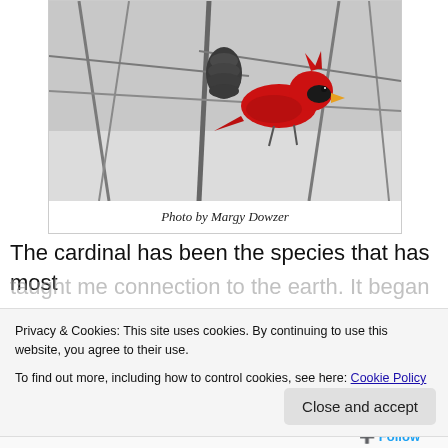[Figure (photo): A bright red male Northern Cardinal perched among bare winter branches near a pine cone, photographed in a snowy setting.]
Photo by Margy Dowzer
The cardinal has been the species that has most
taught me connection to the earth. It began
Privacy & Cookies: This site uses cookies. By continuing to use this website, you agree to their use.
To find out more, including how to control cookies, see here: Cookie Policy
Close and accept